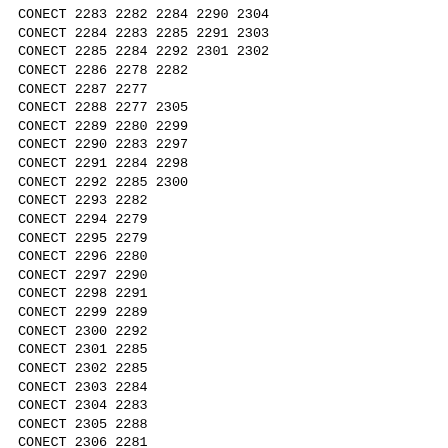CONECT 2283 2282 2284 2290 2304
CONECT 2284 2283 2285 2291 2303
CONECT 2285 2284 2292 2301 2302
CONECT 2286 2278 2282
CONECT 2287 2277
CONECT 2288 2277 2305
CONECT 2289 2280 2299
CONECT 2290 2283 2297
CONECT 2291 2284 2298
CONECT 2292 2285 2300
CONECT 2293 2282
CONECT 2294 2279
CONECT 2295 2279
CONECT 2296 2280
CONECT 2297 2290
CONECT 2298 2291
CONECT 2299 2289
CONECT 2300 2292
CONECT 2301 2285
CONECT 2302 2285
CONECT 2303 2284
CONECT 2304 2283
CONECT 2305 2288
CONECT 2306 2281
CONECT 2307 2281 2308 2311
CONECT 2308 2307 2309 2310
CONECT 2309 2308 2312 2313 2314
CONECT 2310 2308
CONECT 2311 2307
CONECT 2312 2309